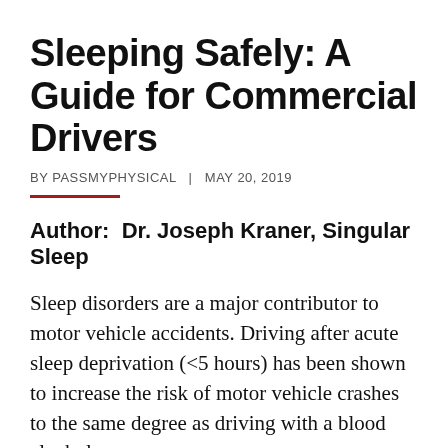Sleeping Safely: A Guide for Commercial Drivers
BY PASSMYPHYSICAL  |  MAY 20, 2019
Author:  Dr. Joseph Kraner, Singular Sleep
Sleep disorders are a major contributor to motor vehicle accidents. Driving after acute sleep deprivation (<5 hours) has been shown to increase the risk of motor vehicle crashes to the same degree as driving with a blood alcohol